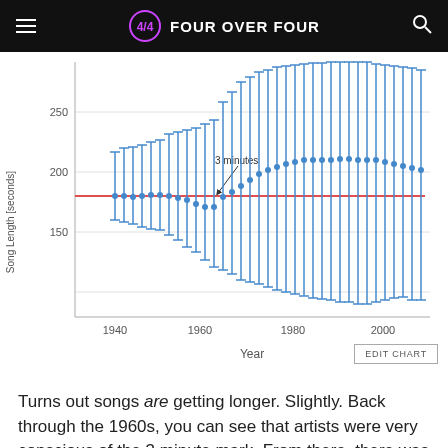Four Over Four
[Figure (continuous-plot): Scatter plot with error bars showing song length in seconds from 1940 to ~2010. A horizontal red reference line at ~180 seconds (3 minutes) is marked with an arrow and label '3 minutes'. Song lengths trend upward from the 1960s onward, with increasing variance.]
Turns out songs are getting longer. Slightly. Back through the 1960s, you can see that artists were very conscious of the 3 minute mark. From there, there was a period of rapid lengthening as new technologies took over and allowed artists to break the original format. However, it seems to have stabilized at around 3 1/2–4